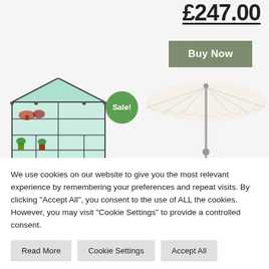£247.00
[Figure (other): Buy Now button - olive/sage green rectangular button]
[Figure (photo): Garden products: a green walk-in greenhouse with shelves of plants on the left, a Sale! green circle badge in the middle, and a beige patio umbrella on the right]
We use cookies on our website to give you the most relevant experience by remembering your preferences and repeat visits. By clicking "Accept All", you consent to the use of ALL the cookies. However, you may visit "Cookie Settings" to provide a controlled consent.
Read More
Cookie Settings
Accept All